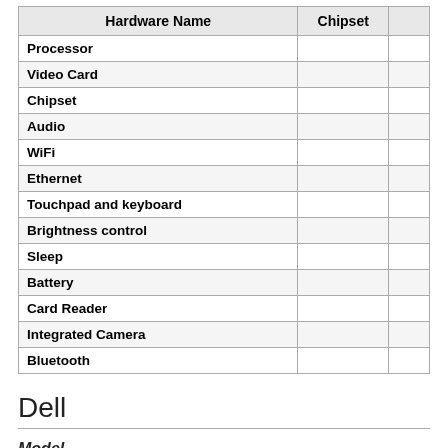| Hardware Name | Chipset |  |
| --- | --- | --- |
| Processor |  |  |
| Video Card |  |  |
| Chipset |  |  |
| Audio |  |  |
| WiFi |  |  |
| Ethernet |  |  |
| Touchpad and keyboard |  |  |
| Brightness control |  |  |
| Sleep |  |  |
| Battery |  |  |
| Card Reader |  |  |
| Integrated Camera |  |  |
| Bluetooth |  |  |
Dell
Model